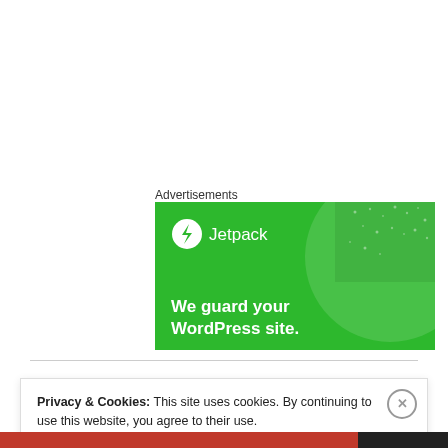Advertisements
[Figure (illustration): Jetpack advertisement banner on green background with text 'We guard your WordPress site.']
Privacy & Cookies: This site uses cookies. By continuing to use this website, you agree to their use.
To find out more, including how to control cookies, see here: Cookie Policy
Close and accept